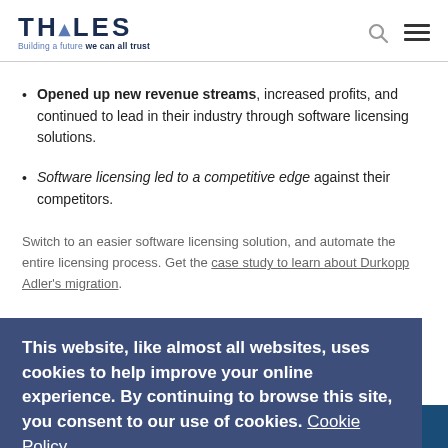THALES — Building a future we can all trust
Opened up new revenue streams, increased profits, and continued to lead in their industry through software licensing solutions.
Software licensing led to a competitive edge against their competitors.
Switch to an easier software licensing solution, and automate the entire licensing process. Get the case study to learn about Durkopp Adler's migration.
This website, like almost all websites, uses cookies to help improve your online experience. By continuing to browse this site, you consent to our use of cookies. Cookie Policy
Continue
Maximize the value of your software